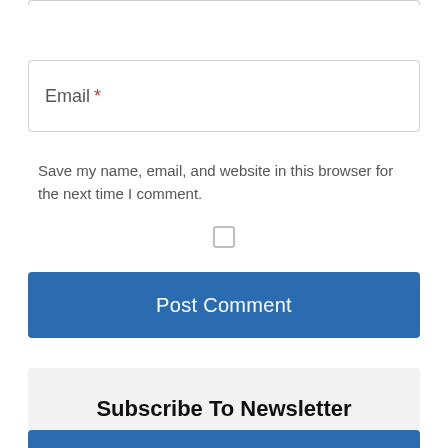Email *
Save my name, email, and website in this browser for the next time I comment.
[Figure (other): Unchecked checkbox]
Post Comment
Subscribe To Newsletter
Your Email Address...